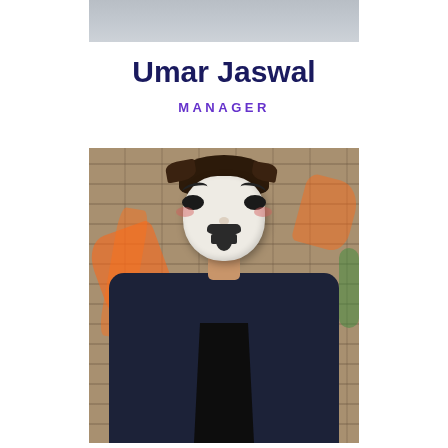[Figure (photo): Cropped top portion of a photo showing the bottom of a person's shirt/torso area, partially visible at the top of the page]
Umar Jaswal
MANAGER
[Figure (photo): A person wearing a Guy Fawkes white mask with painted eyebrows, moustache, and beard, dressed in a dark navy blue jacket over a black shirt, standing in front of a brick wall with orange graffiti]